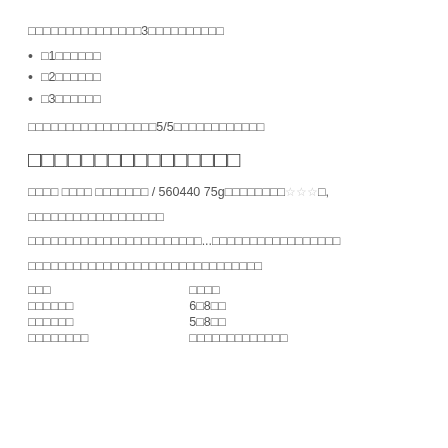□□□□□□□□□□□□□□□3□□□□□□□□□□
□1□□□□□□
□2□□□□□□
□3□□□□□□
□□□□□□□□□□□□□□□□□5/5□□□□□□□□□□□□
□□□□□□□□□□□□□□□□
□□□□ □□□□ □□□□□□□ / 560440 75g□□□□□□□□☆☆☆□,
□□□□□□□□□□□□□□□□□□
□□□□□□□□□□□□□□□□□□□□□□□...□□□□□□□□□□□□□□□□□
□□□□□□□□□□□□□□□□□□□□□□□□□□□□□□□
| □□□ | □□□□ |
| --- | --- |
| □□□□□□ | 6□8□□ |
| □□□□□□ | 5□8□□ |
| □□□□□□□□ | □□□□□□□□□□□□□ |